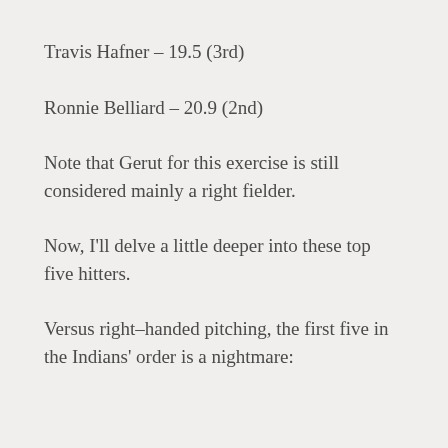Travis Hafner – 19.5 (3rd)
Ronnie Belliard – 20.9 (2nd)
Note that Gerut for this exercise is still considered mainly a right fielder.
Now, I'll delve a little deeper into these top five hitters.
Versus right–handed pitching, the first five in the Indians' order is a nightmare: